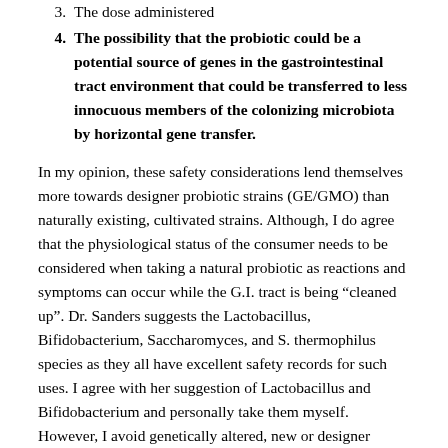3. The dose administered
4. The possibility that the probiotic could be a potential source of genes in the gastrointestinal tract environment that could be transferred to less innocuous members of the colonizing microbiota by horizontal gene transfer.
In my opinion, these safety considerations lend themselves more towards designer probiotic strains (GE/GMO) than naturally existing, cultivated strains. Although, I do agree that the physiological status of the consumer needs to be considered when taking a natural probiotic as reactions and symptoms can occur while the G.I. tract is being “cleaned up”. Dr. Sanders suggests the Lactobacillus, Bifidobacterium, Saccharomyces, and S. thermophilus species as they all have excellent safety records for such uses. I agree with her suggestion of Lactobacillus and Bifidobacterium and personally take them myself. However, I avoid genetically altered, new or designer strains belonging to these species. I’ve